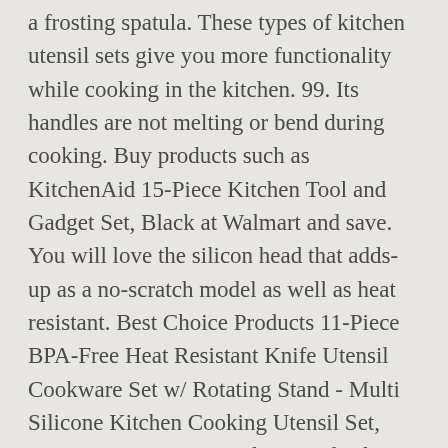a frosting spatula. These types of kitchen utensil sets give you more functionality while cooking in the kitchen. 99. Its handles are not melting or bend during cooking. Buy products such as KitchenAid 15-Piece Kitchen Tool and Gadget Set, Black at Walmart and save. You will love the silicon head that adds-up as a no-scratch model as well as heat resistant. Best Choice Products 11-Piece BPA-Free Heat Resistant Knife Utensil Cookware Set w/ Rotating Stand - Multi Silicone Kitchen Cooking Utensil Set, EAGMAK 14PCS Stainless Steel Silicone Kitchen Utensils Spatula Set with Stand for Nonstick Cookware, BPA Free Non-Toxic Silicone Cooking Utensils (Blue)